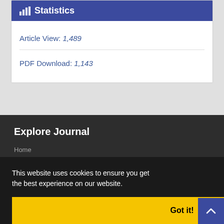Statistics
Article View: 1,489
PDF Download: 1,143
Explore Journal
Home
About Journal
Submit Manuscript
Contact Us
Glossary
This website uses cookies to ensure you get the best experience on our website.
Got it!